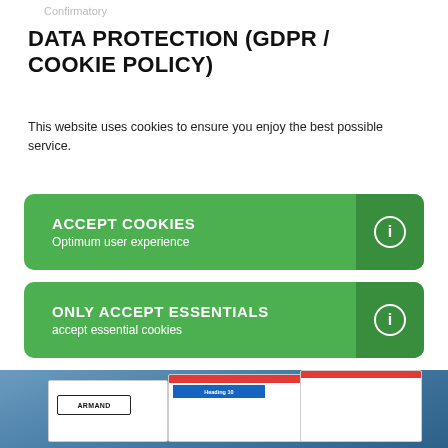Confirmatory
DATA PROTECTION (GDPR / COOKIE POLICY)
This website uses cookies to ensure you enjoy the best possible service.
ACCEPT COOKIES
Optimum user experience
ONLY ACCEPT ESSENTIALS
accept essential cookies
[Figure (screenshot): Promotional image showing document templates including ARMAND logo and Heading 10 template on a blue gradient background]